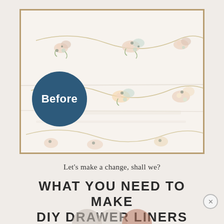[Figure (photo): A before photo showing a drawer with old floral wallpaper liner (white background with pastel floral swag pattern). A dark blue circle overlay in the lower left reads 'Before' in white bold text.]
Let's make a change, shall we?
WHAT YOU NEED TO MAKE DIY DRAWER LINERS